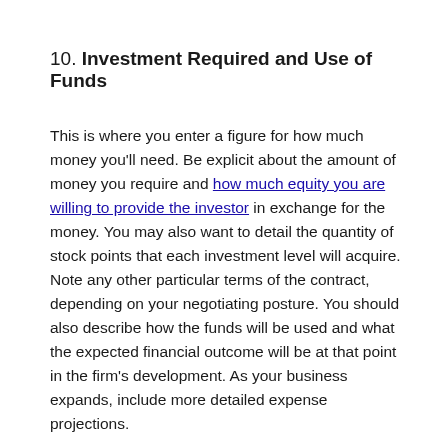10. Investment Required and Use of Funds
This is where you enter a figure for how much money you'll need. Be explicit about the amount of money you require and how much equity you are willing to provide the investor in exchange for the money. You may also want to detail the quantity of stock points that each investment level will acquire.  Note any other particular terms of the contract, depending on your negotiating posture. You should also describe how the funds will be used and what the expected financial outcome will be at that point in the firm's development. As your business expands, include more detailed expense projections.